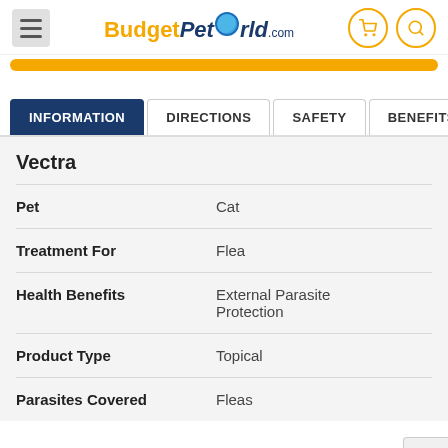BudgetPetWorld.com
INFORMATION | DIRECTIONS | SAFETY | BENEFITS
|  |  |
| --- | --- |
| Vectra |  |
| Pet | Cat |
| Treatment For | Flea |
| Health Benefits | External Parasite Protection |
| Product Type | Topical |
| Parasites Covered | Fleas |